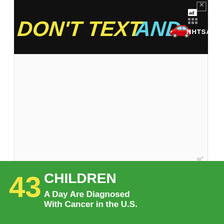[Figure (screenshot): DON'T TEXT AND [car emoji] ad banner with NHTSA branding on black background with close X button]
[Figure (screenshot): Large white advertisement placeholder box with watermark logo bottom right]
After horrific events plagued the Heavenly Host Academy, it was completely demolished.
The community later made the not-so-smart
[Figure (screenshot): 43 CHILDREN A Day Are Diagnosed With Cancer in the U.S. - cookies for kids' cancer - Let's Get Baking advertisement banner on green background]